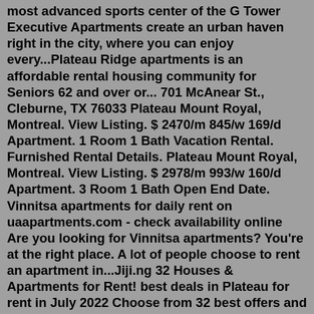most advanced sports center of the G Tower Executive Apartments create an urban haven right in the city, where you can enjoy every...Plateau Ridge apartments is an affordable rental housing community for Seniors 62 and over or... 701 McAnear St., Cleburne, TX 76033 Plateau Mount Royal, Montreal. View Listing. $ 2470/m 845/w 169/d Apartment. 1 Room 1 Bath Vacation Rental. Furnished Rental Details. Plateau Mount Royal, Montreal. View Listing. $ 2978/m 993/w 160/d Apartment. 3 Room 1 Bath Open End Date. Vinnitsa apartments for daily rent on uaapartments.com - check availability online Are you looking for Vinnitsa apartments? You're at the right place. A lot of people choose to rent an apartment in...Jiji.ng 32 Houses & Apartments for Rent! best deals in Plateau for rent in July 2022 Choose from 32 best offers and find home today!Plato's Cave Apartments. Platos Cave Apartments is a gem of a community that tucks you in comfort and caters to your convenience. Offering